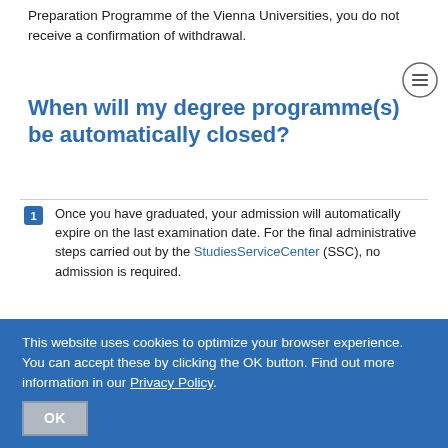Preparation Programme of the Vienna Universities, you do not receive a confirmation of withdrawal.
When will my degree programme(s) be automatically closed?
Once you have graduated, your admission will automatically expire on the last examination date. For the final administrative steps carried out by the StudiesServiceCenter (SSC), no admission is required.
You automatically lose your admission if you do not pay the tuition fee/Students' Union fee. If you want to withdraw from the University of Vienna, you may
This website uses cookies to optimize your browser experience. You can accept these by clicking the OK button. Find out more information in our Privacy Policy.